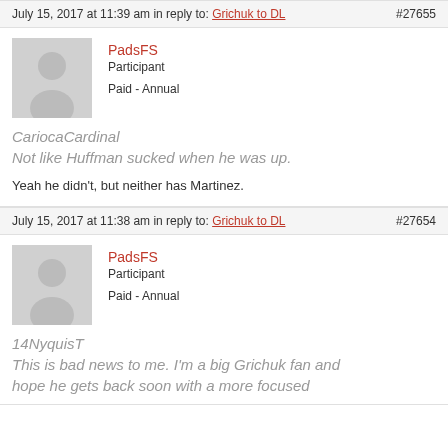July 15, 2017 at 11:39 am in reply to: Grichuk to DL #27655
[Figure (illustration): Generic user avatar silhouette on grey background]
PadsFS
Participant
Paid - Annual
CariocaCardinal
Not like Huffman sucked when he was up.
Yeah he didn't, but neither has Martinez.
July 15, 2017 at 11:38 am in reply to: Grichuk to DL #27654
[Figure (illustration): Generic user avatar silhouette on grey background]
PadsFS
Participant
Paid - Annual
14NyquisT
This is bad news to me. I'm a big Grichuk fan and hope he gets back soon with a more focused